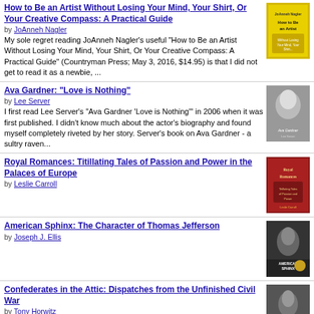How to Be an Artist Without Losing Your Mind, Your Shirt, Or Your Creative Compass: A Practical Guide by JoAnneh Nagler. My sole regret reading JoAnneh Nagler's useful "How to Be an Artist Without Losing Your Mind, Your Shirt, Or Your Creative Compass: A Practical Guide" (Countryman Press; May 3, 2016, $14.95) is that I did not get to read it as a newbie, ...
Ava Gardner: "Love is Nothing" by Lee Server. I first read Lee Server's "Ava Gardner 'Love is Nothing'" in 2006 when it was first published. I didn't know much about the actor's biography and found myself completely riveted by her story. Server's book on Ava Gardner - a sultry raven...
Royal Romances: Titillating Tales of Passion and Power in the Palaces of Europe by Leslie Carroll
American Sphinx: The Character of Thomas Jefferson by Joseph J. Ellis
Confederates in the Attic: Dispatches from the Unfinished Civil War by Tony Horwitz